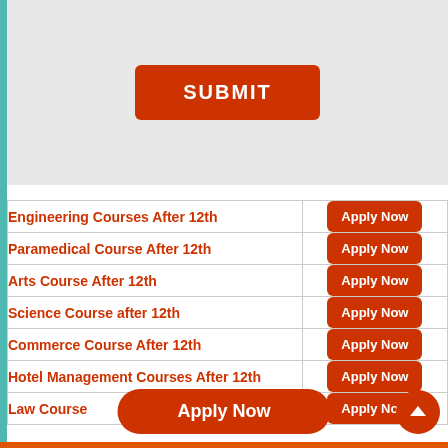[Figure (other): Submit button on grey background]
| Course | Action |
| --- | --- |
| Engineering Courses After 12th | Apply Now |
| Paramedical Course After 12th | Apply Now |
| Arts Course After 12th | Apply Now |
| Science Course after 12th | Apply Now |
| Commerce Course After 12th | Apply Now |
| Hotel Management Courses After 12th | Apply Now |
| Law Course | Apply Now |